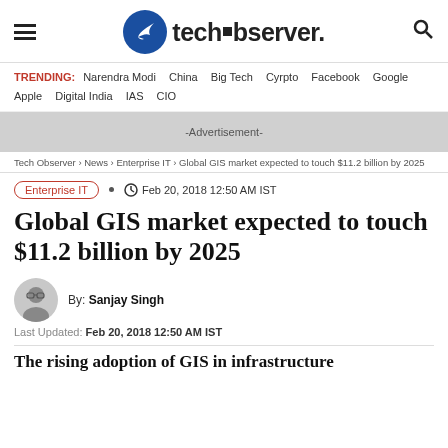techobserver.
TRENDING: Narendra Modi  China  Big Tech  Cyrpto  Facebook  Google  Apple  Digital India  IAS  CIO
-Advertisement-
Tech Observer > News > Enterprise IT > Global GIS market expected to touch $11.2 billion by 2025
Enterprise IT   Feb 20, 2018 12:50 AM IST
Global GIS market expected to touch $11.2 billion by 2025
By: Sanjay Singh
Last Updated: Feb 20, 2018 12:50 AM IST
The rising adoption of GIS in infrastructure